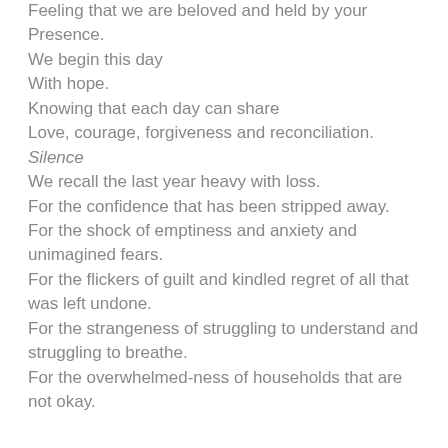Feeling that we are beloved and held by your Presence.
We begin this day
With hope.
Knowing that each day can share
Love, courage, forgiveness and reconciliation.
Silence
We recall the last year heavy with loss.
For the confidence that has been stripped away.
For the shock of emptiness and anxiety and unimagined fears.
For the flickers of guilt and kindled regret of all that was left undone.
For the strangeness of struggling to understand and struggling to breathe.
For the overwhelmed-ness of households that are not okay.